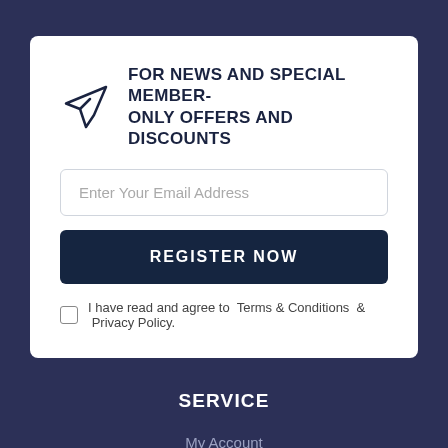FOR NEWS AND SPECIAL MEMBER-ONLY OFFERS AND DISCOUNTS
Enter Your Email Address
REGISTER NOW
I have read and agree to  Terms & Conditions  &  Privacy Policy.
SERVICE
My Account
Track Order
Resolution Centre